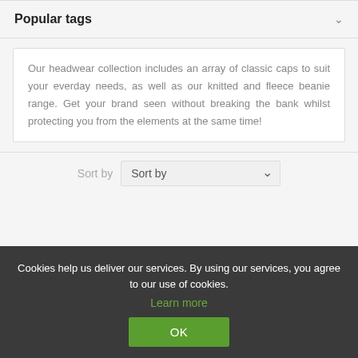Popular tags
Our headwear collection includes an array of classic caps to suit your everday needs, as well as our knitted and fleece beanie range. Get your brand seen without breaking the bank whilst protecting you from the elements at the same time!
Sort by  Sort by
Cookies help us deliver our services. By using our services, you agree to our use of cookies.
Learn more
OK